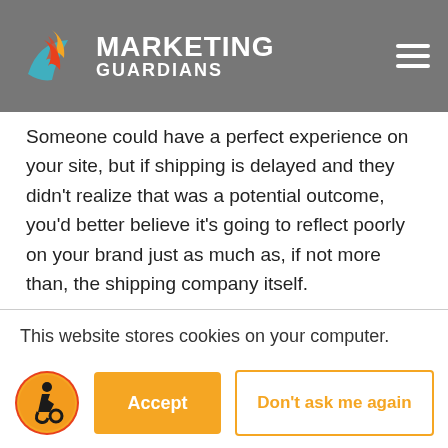The Marketing Guardians
Someone could have a perfect experience on your site, but if shipping is delayed and they didn't realize that was a potential outcome, you'd better believe it's going to reflect poorly on your brand just as much as, if not more than, the shipping company itself.
This website stores cookies on your computer. These cookies are used to collect information about how you interact with our website and allow us to remember you. We use this information in order to improve and customize your browsing experience and for analytics and metrics about our visitors both on this website and other media. To find out more about the cookies we use, see our Privacy Policy.
Accept
Don't ask me again